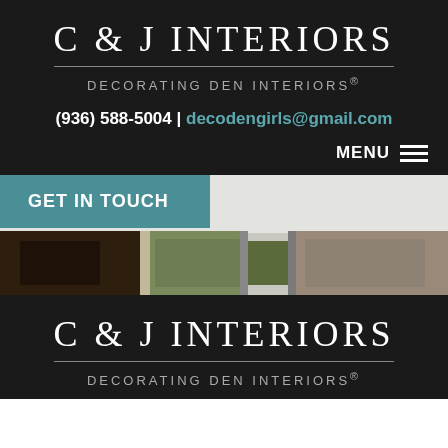C & J INTERIORS
DECORATING DEN INTERIORS®
(936) 588-5004 | decodengirls@gmail.com
MENU
GET IN TOUCH
[Figure (photo): Decorative interior design image strip showing plants and stones]
C & J INTERIORS
DECORATING DEN INTERIORS®